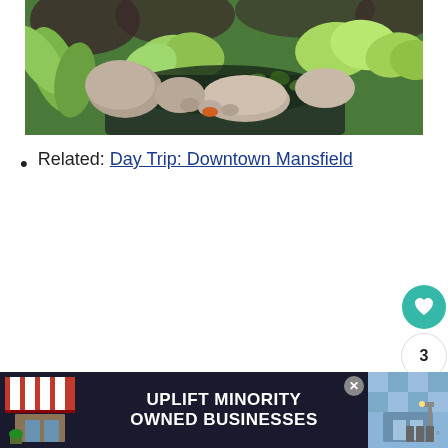[Figure (photo): Outdoor garden pond with large rocks, hosta plants with broad green leaves, lily pads on dark water, and lush green vegetation in the background]
Related: Day Trip: Downtown Mansfield
[Figure (screenshot): Social media interaction buttons: teal heart/like button, count showing 3, and share button]
[Figure (infographic): Advertisement banner: UPLIFT MINORITY OWNED BUSINESSES with storefront imagery on dark background, close button, and brand logo on right]